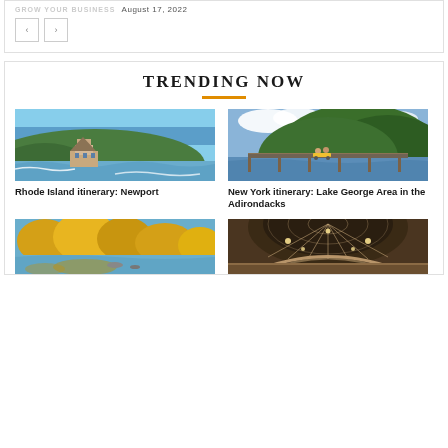GROW YOUR BUSINESS August 17, 2022
[Figure (other): Navigation previous and next buttons]
TRENDING NOW
[Figure (photo): Aerial view of Newport Rhode Island coastline with mansion and ocean waves]
Rhode Island itinerary: Newport
[Figure (photo): People on rail bikes over a lake with green forested mountain in background, Lake George Adirondacks]
New York itinerary: Lake George Area in the Adirondacks
[Figure (photo): Autumn scene with river and yellow trees reflecting in water]
[Figure (photo): Interior of ornate building with domed glass ceiling and wooden architecture]